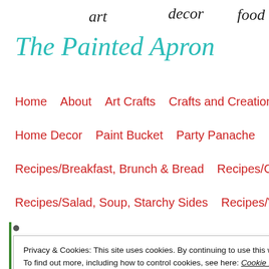art   decor   food
The Painted Apron
Home   About   Art Crafts   Crafts and Creations
Home Decor   Paint Bucket   Party Panache   Pr…
Recipes/Breakfast, Brunch & Bread   Recipes/Cro…
Recipes/Salad, Soup, Starchy Sides   Recipes/Veg…
Privacy & Cookies: This site uses cookies. By continuing to use this website, you agree to their use.
To find out more, including how to control cookies, see here: Cookie Policy
Close and accept